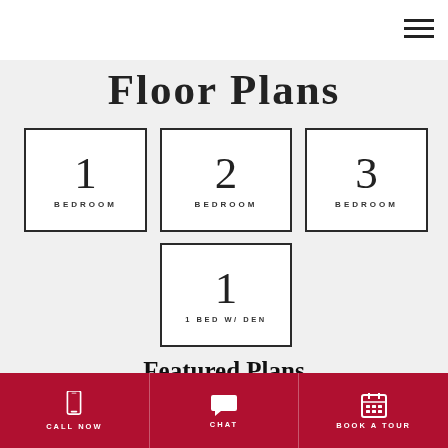ENABLE ACCESSIBILITY
BALDWIN HARBOR APARTMENTS
Floor Plans
1 BEDROOM
2 BEDROOM
3 BEDROOM
1 BED W/ DEN
Featured Plans
CALL NOW | CHAT | BOOK A TOUR